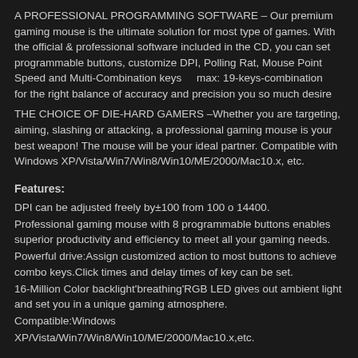A PROFESSIONAL PROGRAMMING SOFTWARE – Our premium gaming mouse is the ultimate solution for most type of games. With the official & professional software included in the CD, you can set programmable buttons, customize DPI, Polling Rat, Mouse Point Speed and Multi-Combination keys    max: 19-keys-combination    for the right balance of accuracy and precision you so much desire
THE CHOICE OF DIE-HARD GAMERS –Whether you are targeting, aiming, slashing or attacking, a professional gaming mouse is your best weapon! The mouse will be your ideal partner. Compatible with Windows XP/Vista/Win7/Win8/Win10/ME/2000/Mac10.x, etc.
Features:
DPI can be adjusted freely by±100 from 100 o 14400.
Professional gaming mouse with 8 programmable buttons enables superior productivity and efficiency to meet all your gaming needs.
Powerful drive:Assign customized action to most buttons to achieve combo keys.Click times and delay times of key can be set.
16-Million Color backlight'breathing'RGB LED gives out ambient light and set you in a unique gaming atmosphere.
Compatible:Windows
XP/Vista/Win7/Win8/Win10/ME/2000/Mac10.x,etc.